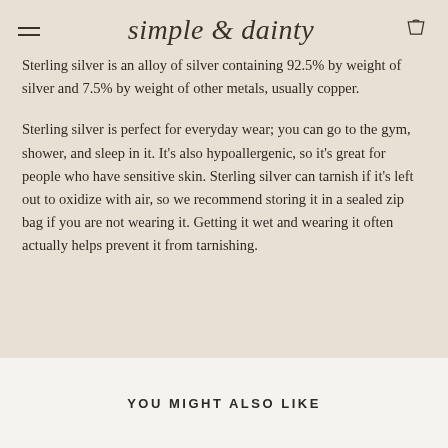simple & dainty
Sterling silver is an alloy of silver containing 92.5% by weight of silver and 7.5% by weight of other metals, usually copper.
Sterling silver is perfect for everyday wear; you can go to the gym, shower, and sleep in it. It's also hypoallergenic, so it's great for people who have sensitive skin. Sterling silver can tarnish if it's left out to oxidize with air, so we recommend storing it in a sealed zip bag if you are not wearing it. Getting it wet and wearing it often actually helps prevent it from tarnishing.
YOU MIGHT ALSO LIKE